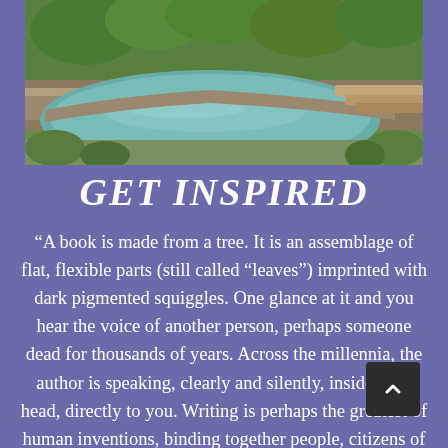[Figure (photo): Aerial/landscape photo of a natural garden with a pond, stone walls, lush green trees and tropical vegetation, with stepping stones visible on the right side.]
GET INSPIRED
“A book is made from a tree. It is an assemblage of flat, flexible parts (still called “leaves”) imprinted with dark pigmented squiggles. One glance at it and you hear the voice of another person, perhaps someone dead for thousands of years. Across the millennia, the author is speaking, clearly and silently, inside your head, directly to you. Writing is perhaps the greatest of human inventions, binding together people, citizens of distant epochs, who never knew one another. Books break the shackles of